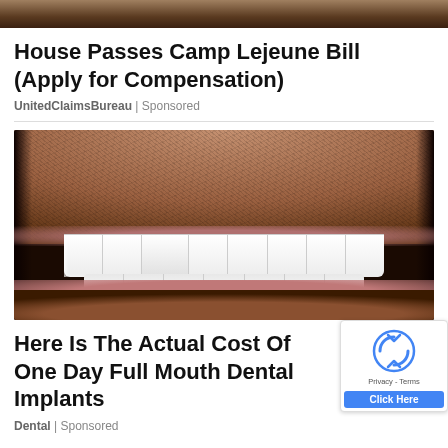[Figure (photo): Partial top image, cropped photo visible at top of page]
House Passes Camp Lejeune Bill (Apply for Compensation)
UnitedClaimsBureau | Sponsored
[Figure (photo): Close-up photo of a man's smile showing white dental veneers/implants with stubble beard]
Here Is The Actual Cost Of One Day Full Mouth Dental Implants
Dental | Sponsored